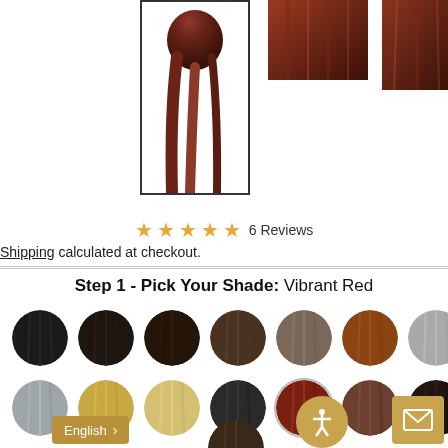[Figure (photo): Hair extension product thumbnails showing dark reddish-brown/auburn hair pieces]
★★★★☆ 6 Reviews
Shipping calculated at checkout.
Step 1 - Pick Your Shade: Vibrant Red
[Figure (photo): Color swatch selector showing 14 circular hair color swatches in two rows ranging from jet black to silver/grey, warm brown, blonde, and auburn/red shades. Vibrant Red swatch is selected (highlighted with border).]